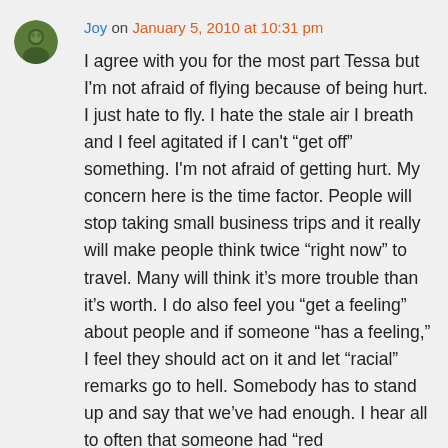Joy on January 5, 2010 at 10:31 pm
I agree with you for the most part Tessa but I'm not afraid of flying because of being hurt. I just hate to fly. I hate the stale air I breath and I feel agitated if I can't “get off” something. I'm not afraid of getting hurt. My concern here is the time factor. People will stop taking small business trips and it really will make people think twice “right now” to travel. Many will think it’s more trouble than it’s worth. I do also feel you “get a feeling” about people and if someone “has a feeling,” I feel they should act on it and let “racial” remarks go to hell. Somebody has to stand up and say that we’ve had enough. I hear all to often that someone had “red